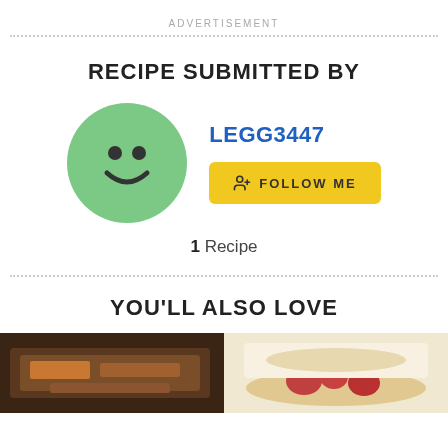ADVERTISEMENT
RECIPE SUBMITTED BY
[Figure (illustration): Green circle avatar with smiley face icon, username LEGG3447, and a yellow Follow Me button]
1 Recipe
YOU'LL ALSO LOVE
[Figure (photo): Two food photos side by side at the bottom of the page]